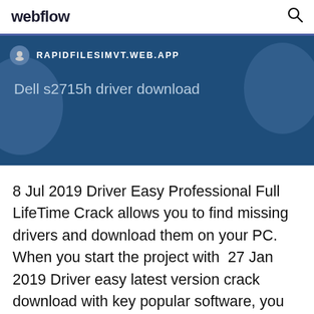webflow
[Figure (screenshot): Dark blue banner showing a browser URL bar with icon and URL 'RAPIDFILESIMVT.WEB.APP', and below it the text 'Dell s2715h driver download' in light blue-gray text, with decorative circular shapes on left and right sides.]
8 Jul 2019 Driver Easy Professional Full LifeTime Crack allows you to find missing drivers and download them on your PC. When you start the project with  27 Jan 2019 Driver easy latest version crack download with key popular software, you can drivers update and install.